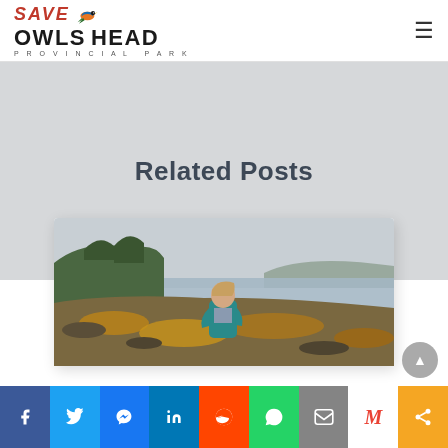Save Owls Head Provincial Park
Related Posts
[Figure (photo): Person in teal jacket standing on rocky coastal shoreline with seaweed-covered rocks, misty ocean and treed headland in background]
Social sharing bar: Facebook, Twitter, Messenger, LinkedIn, Reddit, WhatsApp, Email, Gmail, Share